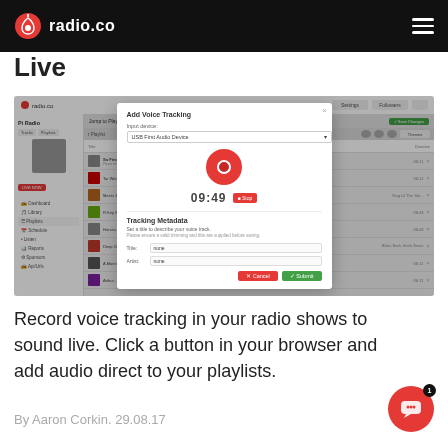radio.co
Live
[Figure (screenshot): Screenshot of radio.co dashboard showing an 'Add Voice Tracking' modal dialog with a red record button, timer showing 09:49, a Stop button, Tracking Metadata section with Title and Artist fields, and Cancel/Submit buttons.]
Record voice tracking in your radio shows to sound live. Click a button in your browser and add audio directly to your playlists.
By Aaron Corkin. 29.08.17